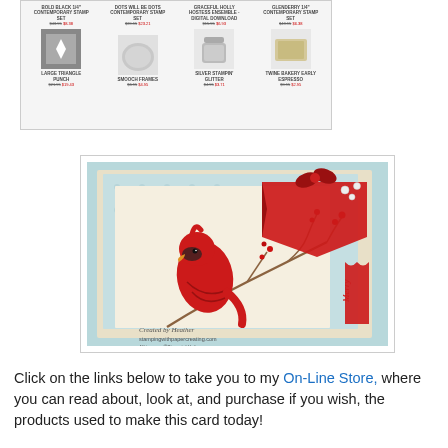[Figure (screenshot): Screenshot of an online store showing craft/stamping products with product names and sale prices (struck-through original prices and red sale prices). Products include stamp sets, punches, glitter, etc.]
[Figure (photo): Handmade greeting card featuring a red cardinal bird sitting on a branch with red berries, on a light blue patterned background, with a red banner/flag embellishment. Watermark reads 'Created by Heather stampingwithpapercreating.com All images ©Stampin' Up!']
Click on the links below to take you to my On-Line Store, where you can read about, look at, and purchase if you wish, the products used to make this card today!